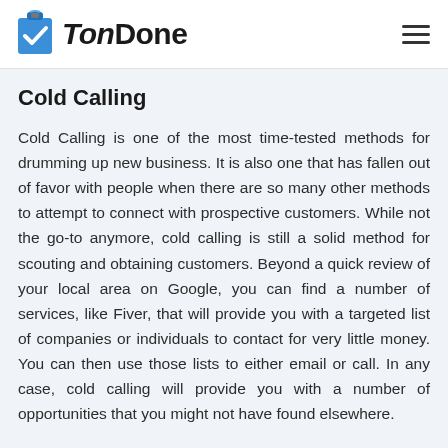TonDone
Cold Calling
Cold Calling is one of the most time-tested methods for drumming up new business. It is also one that has fallen out of favor with people when there are so many other methods to attempt to connect with prospective customers. While not the go-to anymore, cold calling is still a solid method for scouting and obtaining customers. Beyond a quick review of your local area on Google, you can find a number of services, like Fiver, that will provide you with a targeted list of companies or individuals to contact for very little money. You can then use those lists to either email or call. In any case, cold calling will provide you with a number of opportunities that you might not have found elsewhere.